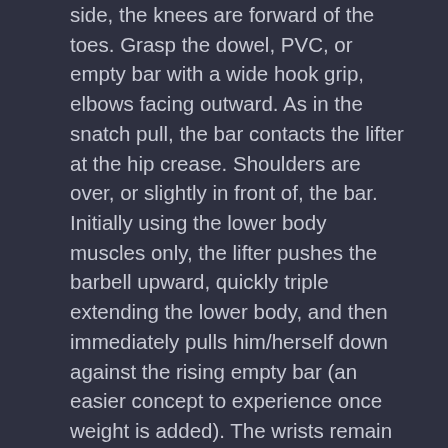side, the knees are forward of the toes. Grasp the dowel, PVC, or empty bar with a wide hook grip, elbows facing outward. As in the snatch pull, the bar contacts the lifter at the hip crease. Shoulders are over, or slightly in front of, the bar. Initially using the lower body muscles only, the lifter pushes the barbell upward, quickly triple extending the lower body, and then immediately pulls him/herself down against the rising empty bar (an easier concept to experience once weight is added). The wrists remain flexed with the barbell very close to the torso during the pull-under. As the barbell passes the lifter's face the wrists are quickly extended to flip the bar overhead while lowering into a partial squat receiving position. It is suggested that new lifters initially practice this sequence with no added foot movement. Foot movement, usually needed to achieve a deep squat position, may be added later. The bar arrives overhead with elbows locked, wrists extended (palm up), located over the lifter's shoulders. The lifter recovers to a